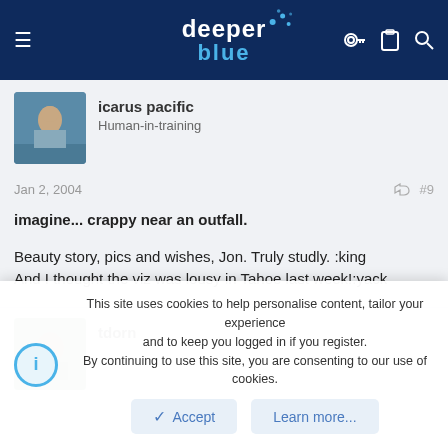DeeperBlue.com
icarus pacific
Human-in-training
Jan 2, 2004  #9
imagine... crappy near an outfall.

Beauty story, pics and wishes, Jon. Truly studly. :king
And I thought the viz was lousy in Tahoe last week!:yack
This site uses cookies to help personalise content, tailor your experience and to keep you logged in if you register.
By continuing to use this site, you are consenting to our use of cookies.